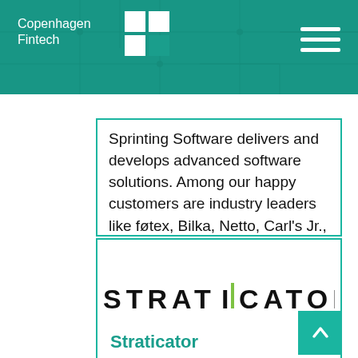Copenhagen Fintech
Sprinting Software delivers and develops advanced software solutions. Among our happy customers are industry leaders like føtex, Bilka, Netto, Carl's Jr., and Scanbur.
[Figure (logo): Straticator logo — stylized wordmark in dark/black text with a green vertical bar replacing the letter 'I']
Straticator